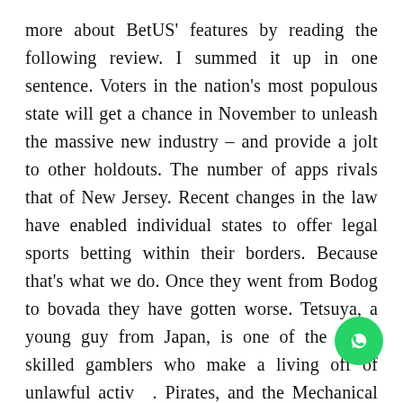more about BetUS' features by reading the following review. I summed it up in one sentence. Voters in the nation's most populous state will get a chance in November to unleash the massive new industry – and provide a jolt to other holdouts. The number of apps rivals that of New Jersey. Recent changes in the law have enabled individual states to offer legal sports betting within their borders. Because that's what we do. Once they went from Bodog to bovada they have gotten worse. Tetsuya, a young guy from Japan, is one of the many skilled gamblers who make a living off of unlawful activity. Pirates, and the Mechanical Orange slots. justices voted 6 3 to strike down the 1992